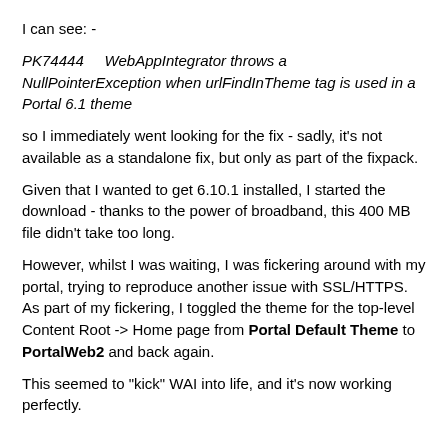I can see: -
PK74444    WebAppIntegrator throws a NullPointerException when urlFindInTheme tag is used in a Portal 6.1 theme
so I immediately went looking for the fix - sadly, it's not available as a standalone fix, but only as part of the fixpack.
Given that I wanted to get 6.10.1 installed, I started the download - thanks to the power of broadband, this 400 MB file didn't take too long.
However, whilst I was waiting, I was fickering around with my portal, trying to reproduce another issue with SSL/HTTPS. As part of my fickering, I toggled the theme for the top-level Content Root -> Home page from Portal Default Theme to PortalWeb2 and back again.
This seemed to "kick" WAI into life, and it's now working perfectly.